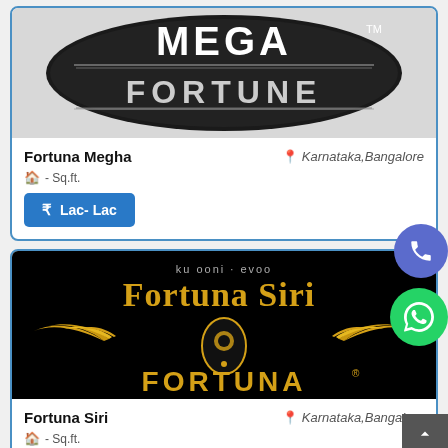[Figure (logo): Mega Fortune logo - black oval background with MEGA FORTUNE text in silver/jeweled lettering with TM mark]
Fortuna Megha
Karnataka,Bangalore
- Sq.ft.
Lac- Lac
[Figure (logo): Fortuna Siri logo - black background with golden eagle/phoenix wings and FORTUNA text with Fortuna Siri banner]
Fortuna Siri
Karnataka,Bangalore
- Sq.ft.
Lac- Lac